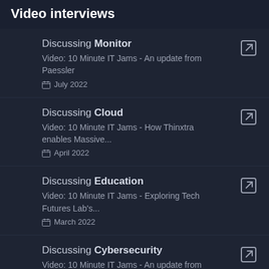Video interviews
Discussing Monitor
Video: 10 Minute IT Jams - An update from Paessler
July 2022
Discussing Cloud
Video: 10 Minute IT Jams - How Thinxtra enables Massive...
April 2022
Discussing Education
Video: 10 Minute IT Jams - Exploring Tech Futures Lab's...
March 2022
Discussing Cybersecurity
Video: 10 Minute IT Jams - An update from DigiCert on n...
December 2021